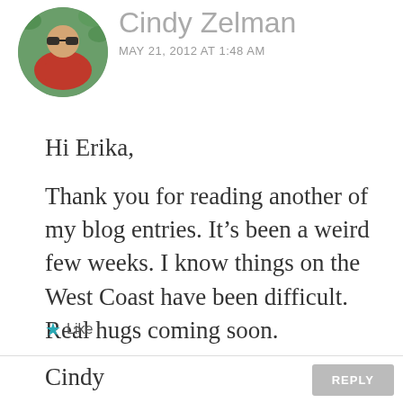[Figure (photo): Circular avatar photo of a person wearing sunglasses and a red tank top, outdoors with green foliage in background]
Cindy Zelman
MAY 21, 2012 AT 1:48 AM
Hi Erika,
Thank you for reading another of my blog entries. It’s been a weird few weeks. I know things on the West Coast have been difficult. Real hugs coming soon.
Cindy
★ Like
REPLY